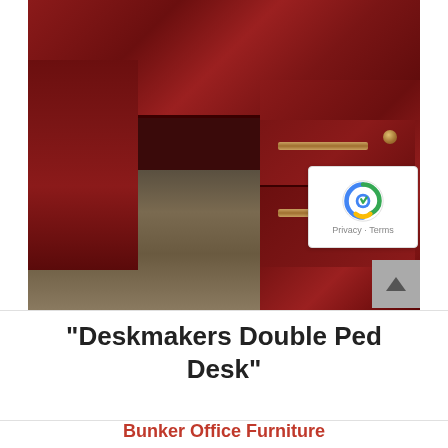[Figure (photo): Photograph of a mahogany double pedestal office desk viewed at an angle, showing the desk top surface, two pedestals with drawers featuring gold/bronze bar handles, and a knob on the right pedestal. The desk sits on a carpeted floor.]
“Deskmakers Double Ped Desk”
Bunker Office Furniture